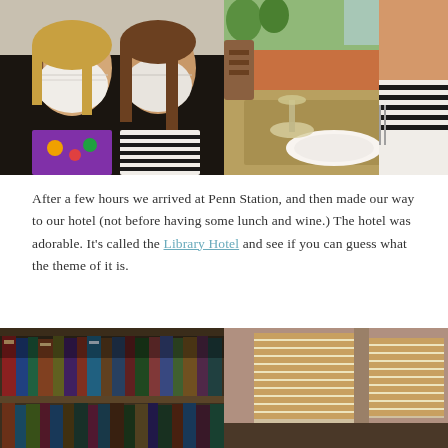[Figure (photo): Two people wearing white KN95 masks take a selfie. Left person has glasses and blonde hair, right person has brown hair. Both wearing colorful patterned clothing.]
[Figure (photo): Person in striped top holding a wine glass at a restaurant table. Table has a place setting with a white bowl, placemat, and glass of wine.]
After a few hours we arrived at Penn Station, and then made our way to our hotel (not before having some lunch and wine.) The hotel was adorable. It's called the Library Hotel and see if you can guess what the theme of it is.
[Figure (photo): Bookshelf filled with books of various colors, photographed from a low angle looking up.]
[Figure (photo): Interior room with wooden venetian blinds on windows, warm lighting visible through slats.]